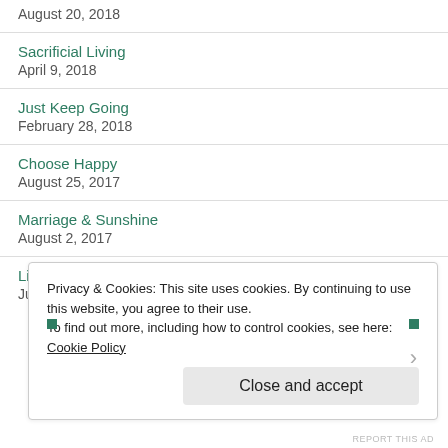August 20, 2018
Sacrificial Living
April 9, 2018
Just Keep Going
February 28, 2018
Choose Happy
August 25, 2017
Marriage & Sunshine
August 2, 2017
Life, perseverance & yoga
July 18, 2017
Privacy & Cookies: This site uses cookies. By continuing to use this website, you agree to their use.
To find out more, including how to control cookies, see here: Cookie Policy
Close and accept